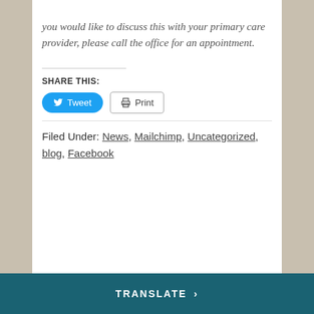you would like to discuss this with your primary care provider, please call the office for an appointment.
SHARE THIS:
Tweet  Print
Filed Under: News, Mailchimp, Uncategorized, blog, Facebook
TRANSLATE >